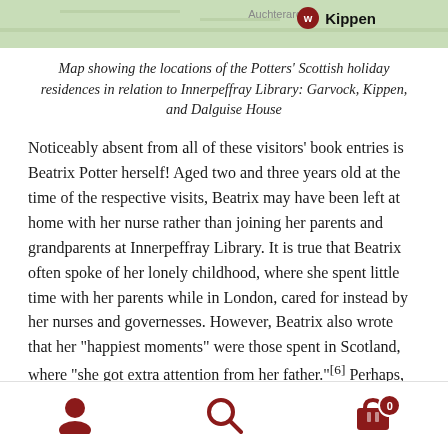[Figure (map): Partial map showing locations including Kippen, with a red circular location marker icon]
Map showing the locations of the Potters' Scottish holiday residences in relation to Innerpeffray Library: Garvock, Kippen, and Dalguise House
Noticeably absent from all of these visitors' book entries is Beatrix Potter herself! Aged two and three years old at the time of the respective visits, Beatrix may have been left at home with her nurse rather than joining her parents and grandparents at Innerpeffray Library. It is true that Beatrix often spoke of her lonely childhood, where she spent little time with her parents while in London, cared for instead by her nurses and governesses. However, Beatrix also wrote that her “happiest moments” were those spent in Scotland, where “she got extra attention from her father.”[6] Perhaps, away from the stricter rules of London society, “where every activity was carefully regimented and supervised,” the
Navigation bar with user, search, and cart icons